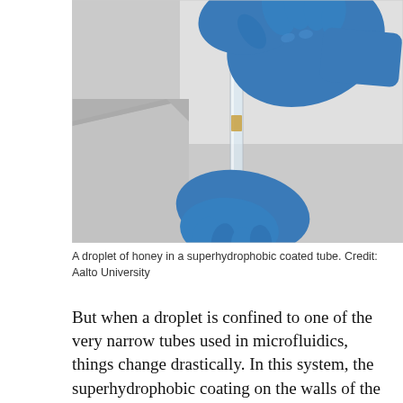[Figure (photo): A gloved hand holding a narrow transparent tube with a small droplet of honey inside, against a light grey background. Blue latex gloves visible on both top and bottom hands.]
A droplet of honey in a superhydrophobic coated tube. Credit: Aalto University
But when a droplet is confined to one of the very narrow tubes used in microfluidics, things change drastically. In this system, the superhydrophobic coating on the walls of the tube creates a small air gap between the inside wall of the tube and the outside of the droplet. “What we found was that when a droplet is confined to a sealed superhydrophobic capillary, the air gap around the droplet is larger for more viscous